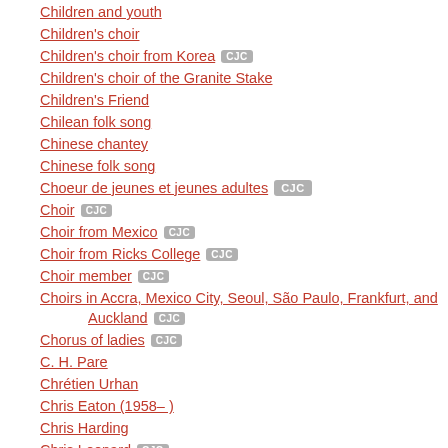Children and youth
Children's choir
Children's choir from Korea  CJC
Children's choir of the Granite Stake
Children's Friend
Chilean folk song
Chinese chantey
Chinese folk song
Choeur de jeunes et jeunes adultes  CJC
Choir  CJC
Choir from Mexico  CJC
Choir from Ricks College  CJC
Choir member  CJC
Choirs in Accra, Mexico City, Seoul, São Paulo, Frankfurt, and Auckland  CJC
Chorus of ladies  CJC
C. H. Pare
Chrétien Urhan
Chris Eaton (1958– )
Chris Harding
Chris Leonard  CJC